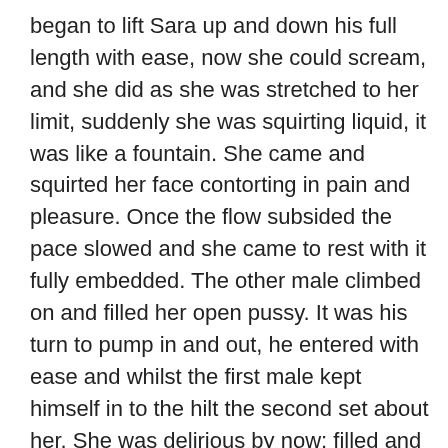began to lift Sara up and down his full length with ease, now she could scream, and she did as she was stretched to her limit, suddenly she was squirting liquid, it was like a fountain. She came and squirted her face contorting in pain and pleasure. Once the flow subsided the pace slowed and she came to rest with it fully embedded. The other male climbed on and filled her open pussy. It was his turn to pump in and out, he entered with ease and whilst the first male kept himself in to the hilt the second set about her. She was delirious by now; filled and stretched she was merely a receptacle for their sexual pounding. The session continued they swapped places and carried on. I lost count of her orgasms; finally the men stopped and withdrew. They then knelt either side of her and she used her mouth until she made them come, it gushed all over her face and hair. She was a